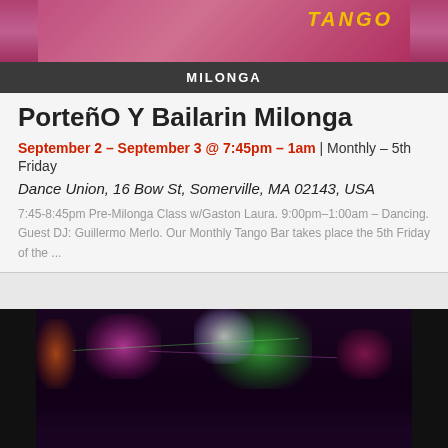[Figure (photo): Top portion of a tango event photo with pink/red background and 'TANGO' text visible]
MILONGA
PorteñO Y Bailarin Milonga
September 2 – September 3 @ 7:45pm – 1am | Monthly – 5th Friday
Dance Union, 16 Bow St, Somerville, MA 02143, USA
7:45-8:45pm Pre-Milonga Class w/Gaston Laura. 9:00pm–1:00am – Dancing. Guest DJ: Guillermo Merlo. Our Monthly Tango Bar takes place the 5th Friday of the ...
[Figure (photo): Party/dance venue photo with colorful stage lights (green, pink, white) and crowd of dancers on the floor]
PARTY